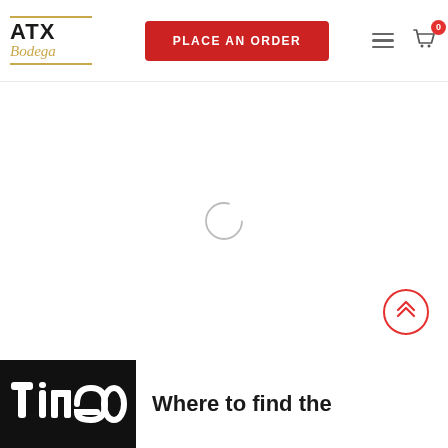ATX Bodega – PLACE AN ORDER
[Figure (screenshot): Loading spinner (circle) in center of white page content area]
[Figure (other): Scroll-to-top button: red circle with double up-chevron icon]
[Figure (logo): TimeOut logo – white text on black background]
Where to find the